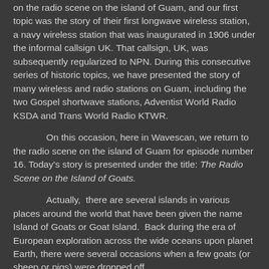on the radio scene on the island of Guam, and our first topic was the story of their first longwave wireless station, a navy wireless station that was inaugurated in 1906 under the informal callsign UK. That callsign, UK, was subsequently regularized to NPN. During this consecutive series of historic topics, we have presented the story of many wireless and radio stations on Guam, including the two Gospel shortwave stations, Adventist World Radio KSDA and Trans World Radio KTWR.
On this occasion, here in Wavescan, we return to the radio scene on the island of Guam for episode number 16. Today's story is presented under the title: The Radio Scene on the Island of Goats.
Actually, there are several islands in various places around the world that have been given the name Island of Goats or Goat Island. Back during the era of European exploration across the wide oceans upon planet Earth, there were several occasions when a few goats (or sheep or pigs) were dropped off